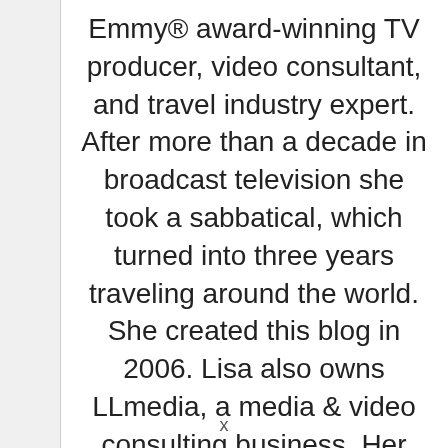Emmy® award-winning TV producer, video consultant, and travel industry expert. After more than a decade in broadcast television she took a sabbatical, which turned into three years traveling around the world. She created this blog in 2006. Lisa also owns LLmedia, a media & video consulting business. Her writing and photography has been published by American Way, Hemispheres, Wall Street Journal, Chicago Tribune, West